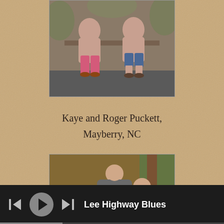[Figure (photo): Two people sitting on a bench outdoors, one wearing pink pants and one wearing blue shorts]
Kaye and Roger Puckett,
Mayberry, NC
[Figure (photo): Group of people posing together indoors/outdoors, appears to be a family photo rotated sideways]
Lee Highway Blues